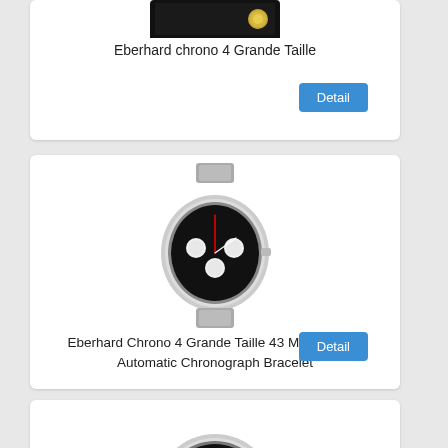[Figure (photo): Eberhard chrono 4 Grande Taille watch in dark box with gold emblem, top portion visible]
Eberhard chrono 4 Grande Taille
[Figure (photo): Eberhard Chrono 4 Grande Taille 43 men's watch with black dial, white subdials, red hands, silver bracelet]
Eberhard Chrono 4 Grande Taille 43 Men's watch Automatic Chronograph Bracelet
[Figure (photo): Eberhard chrono watch with black dial, white subdials, red hands, black leather bracelet, partially visible]